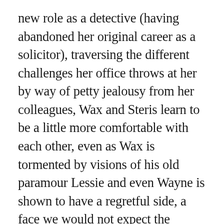new role as a detective (having abandoned her original career as a solicitor), traversing the different challenges her office throws at her by way of petty jealousy from her colleagues, Wax and Steris learn to be a little more comfortable with each other, even as Wax is tormented by visions of his old paramour Lessie and even Wayne is shown to have a regretful side, a face we would not expect the playful, impish character to have. There is this amazing flashback-exchange between Wax and his uncle that reveals how Wax was a “lawman” even as a young boy. There is no dearth of excellent dialogues that are very relevant even in our non-allomantic dull real